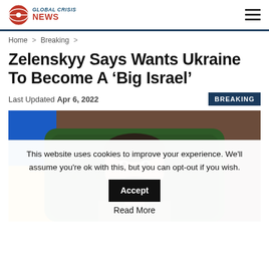Global Crisis News
Home > Breaking >
Zelenskyy Says Wants Ukraine To Become A ‘Big Israel’
Last Updated Apr 6, 2022
BREAKING
[Figure (photo): Man in dark olive shirt seated in a green leather chair, with a Ukrainian flag visible in the background]
This website uses cookies to improve your experience. We'll assume you're ok with this, but you can opt-out if you wish. Accept Read More